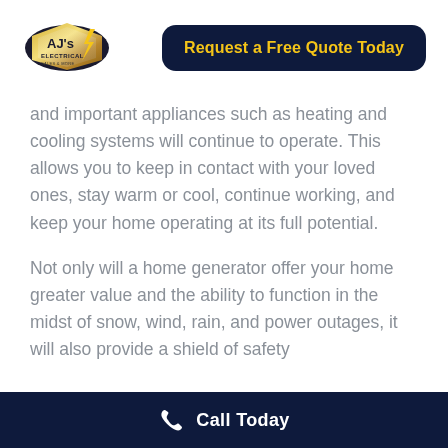[Figure (logo): AJ's Electrical logo with gold and silver badge design and lightning bolt]
[Figure (other): Dark navy rounded rectangle button with bold yellow text 'Request a Free Quote Today']
and important appliances such as heating and cooling systems will continue to operate. This allows you to keep in contact with your loved ones, stay warm or cool, continue working, and keep your home operating at its full potential.
Not only will a home generator offer your home greater value and the ability to function in the midst of snow, wind, rain, and power outages, it will also provide a shield of safety
Call Today